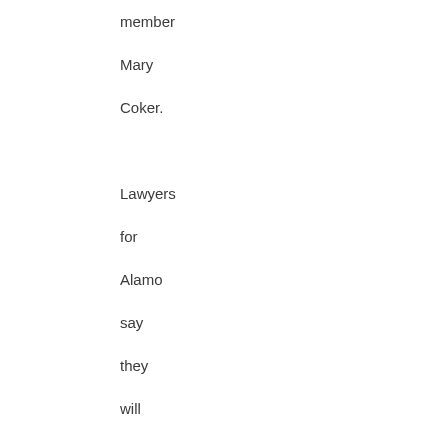member Mary Coker. Lawyers for Alamo say they will prepare for trial. “Where they place him will have a lot to do with the preparation time.”